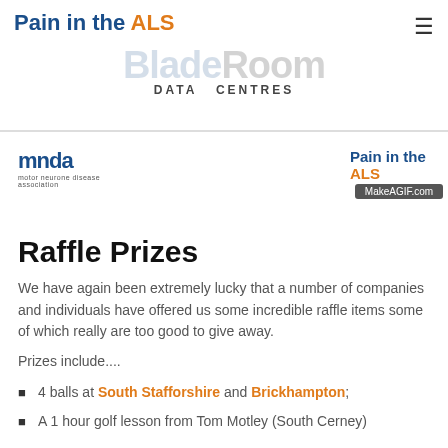Pain in the ALS — BladeRoom Data Centres
[Figure (logo): BladeRoom Data Centres logo with blade in blue and room in black, DATA CENTRES in small caps below]
[Figure (logo): MNDA (Motor Neurone Disease Association) logo on left, Pain in the ALS with MakeAGIF.com badge on right]
Raffle Prizes
We have again been extremely lucky that a number of companies and individuals have offered us some incredible raffle items some of which really are too good to give away.
Prizes include....
4 balls at South Stafforshire and Brickhampton;
A 1 hour golf lesson from Tom Motley (South Cerney)